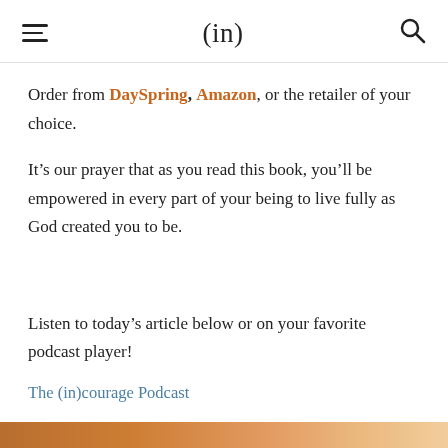(in)
Order from DaySpring, Amazon, or the retailer of your choice.
It’s our prayer that as you read this book, you’ll be empowered in every part of your being to live fully as God created you to be.
Listen to today’s article below or on your favorite podcast player!
The (in)courage Podcast